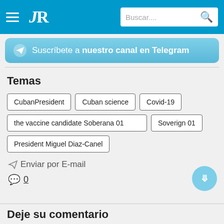[Figure (screenshot): Navigation bar with hamburger menu, JR logo, and search box on blue background]
[Figure (infographic): Telegram channel subscription banner with airplane icon on blue gradient background]
Temas
CubanPresident
Cuban science
Covid-19
the vaccine candidate Soberana 01
Soverign 01
President Miguel Diaz-Canel
Enviar por E-mail
0
Deje su comentario